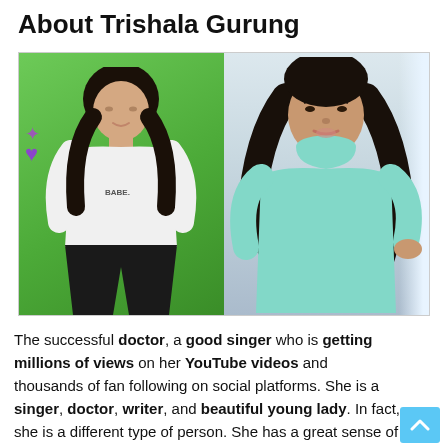About Trishala Gurung
[Figure (photo): Two side-by-side photos of Trishala Gurung. Left: woman in white long-sleeve top reading 'BABE' posing in front of a green screen background with purple sparkle emoji. Right: woman in a teal/mint turtleneck sweater taking a selfie near a window, lips pursed.]
The successful doctor, a good singer who is getting millions of views on her YouTube videos and thousands of fan following on social platforms. She is a singer, doctor, writer, and beautiful young lady. In fact, she is a different type of person. She has a great sense of